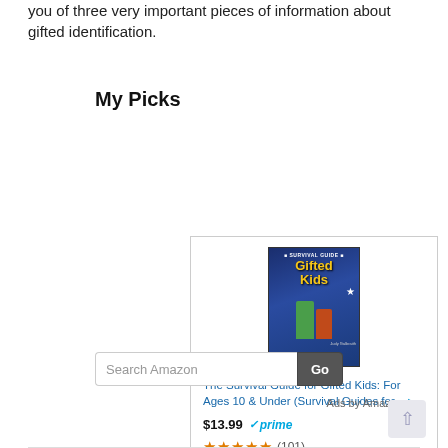you of three very important pieces of information about gifted identification.
My Picks
[Figure (photo): Book cover of 'The Survival Guide for Gifted Kids' showing two children looking at stars on a dark blue background with yellow title text]
The Survival Guide for Gifted Kids: For Ages 10 & Under (Survival Guides for ...
$13.99 ✓prime
★★★★★ (101)
Search Amazon
Ads by Amazon